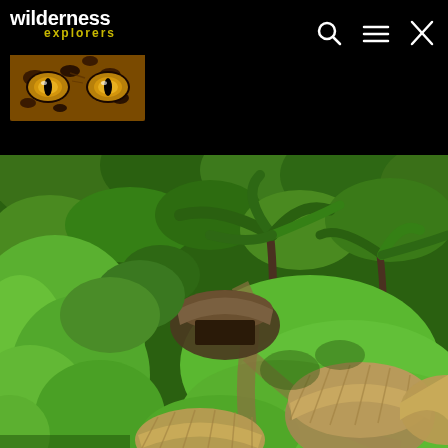[Figure (logo): Wilderness Explorers logo with jaguar eyes and yellow text on black background]
[Figure (photo): Aerial view of a jungle eco-lodge with thatched-roof huts, lush green trees, palm trees, and grass clearings surrounded by tropical rainforest]